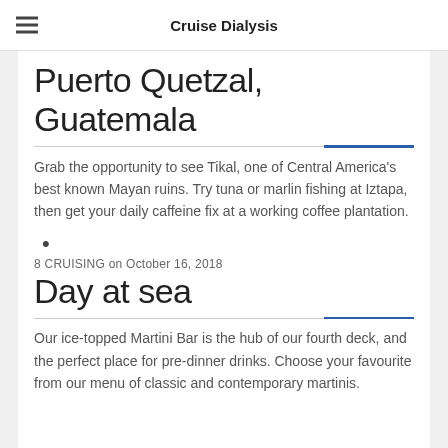Cruise Dialysis
Puerto Quetzal, Guatemala
Grab the opportunity to see Tikal, one of Central America's best known Mayan ruins. Try tuna or marlin fishing at Iztapa, then get your daily caffeine fix at a working coffee plantation.
•
8 CRUISING on October 16, 2018
Day at sea
Our ice-topped Martini Bar is the hub of our fourth deck, and the perfect place for pre-dinner drinks. Choose your favourite from our menu of classic and contemporary martinis.